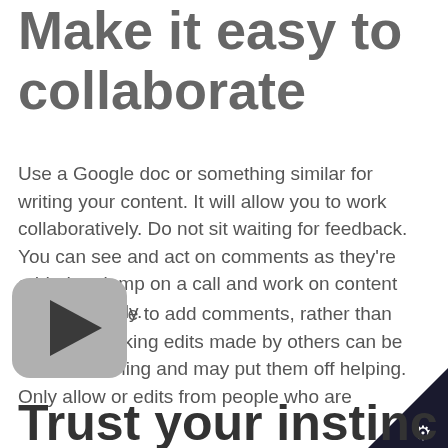Make it easy to collaborate
Use a Google doc or something similar for writing your content. It will allow you to work collaboratively. Do not sit waiting for feedback. You can see and act on comments as they're added, or jump on a call and work on content collaboratively.
But tell people to add comments, rather than edits. Reworking edits made by others can be time consuming and may put them off helping. Only allow or edits from people who are
[Figure (other): Video play button icon — rounded rectangle with dark play triangle in center]
Trust your instinc